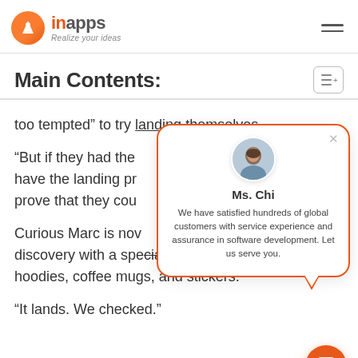inapps – Realize your ideas
Main Contents:
too tempted” to try landing themselves.
“But if they had the have the landing pr prove that they cou
Curious Marc is nov discovery with a special line of t-shirts, hoodies, coffee mugs, and stickers.
“It lands. We checked.”
[Figure (other): Chat popup with avatar photo of Ms. Chi and text: We have satisfied hundreds of global customers with service experience and assurance in software development. Let us serve you.]